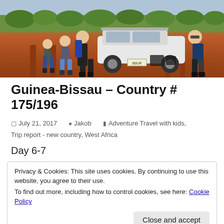[Figure (photo): Family of four with backpacks standing in front of a white car on a red dirt road in West Africa, green trees in background]
Guinea-Bissau – Country # 175/196
July 21, 2017   Jakob   Adventure Travel with kids, Trip report - new country, West Africa
Day 6-7
Privacy & Cookies: This site uses cookies. By continuing to use this website, you agree to their use.
To find out more, including how to control cookies, see here: Cookie Policy
[Close and accept]
these posts – hence frequent updates from the last two